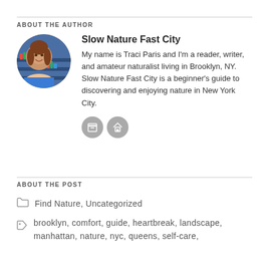ABOUT THE AUTHOR
[Figure (photo): Circular avatar photo of author Traci Paris, smiling woman in front of bookshelves]
Slow Nature Fast City
My name is Traci Paris and I'm a reader, writer, and amateur naturalist living in Brooklyn, NY. Slow Nature Fast City is a beginner's guide to discovering and enjoying nature in New York City.
ABOUT THE POST
Find Nature,  Uncategorized
brooklyn,  comfort,  guide,  heartbreak,  landscape,  manhattan,  nature,  nyc,  queens,  self-care,